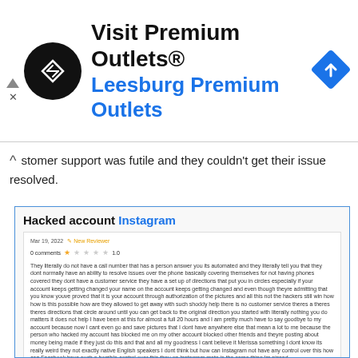[Figure (other): Advertisement banner for Premium Outlets - Visit Premium Outlets® Leesburg Premium Outlets with logo and navigation icon]
stomer support was futile and they couldn't get their issue resolved.
Hacked account Instagram
Mar 19, 2022  New Reviewer
0 comments   ★☆☆☆☆  1.0
They literally do not have a call number that has a person answer you its automated and they literally tell you that they dont normally have an ability to resolve issues over the phone basically covering themselves for not having phones covered they dont have a customer service they have a set up of directions that put you in circles especially if your account keeps getting changed your name on the account keeps getting changed and even though theyre admitting that you know youve proved that it is your account through authorization of the pictures and all this not the hackers still win how how is this possible how are they allowed to get away with such shoddy help there is no customer service theres a theres theres directions that circle around until you can get back to the original direction you started with literally nothing you do matters it does not help I have been at this for almost a full 20 hours and I am pretty much have to say goodbye to my account because now I cant even go and save pictures that I dont have anywhere else that mean a lot to me because the person who hacked my account has blocked me on my other account blocked other friends and theyre posting about money being made if they just do this and that and all my goodness I cant believe it Merissa something I dont know its really weird they not exactly native English speakers I dont think but how can Instagram not have any control over this how can Facebook have such a horrible control over this they on Instagram meta is the same thing Im pissed
User's recommendation: Set up a two point authorization code immediately if you get this Instagram app but you're better off not having anything to do with Instagram metaor Facebook.
Preferred solution: Give me back my *** account!!